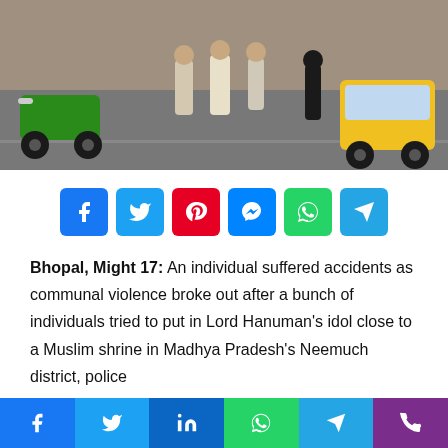[Figure (photo): Street photo showing people walking on a road with a green motorcycle on the left and an auto-rickshaw on the right]
[Figure (infographic): Social share buttons row: Facebook (blue), Twitter (light blue), Pinterest (red), Messenger (blue), WhatsApp (green), Telegram (blue)]
Bhopal, Might 17:  An individual suffered accidents as communal violence broke out after a bunch of individuals tried to put in Lord Hanuman's idol close to a Muslim shrine in Madhya Pradesh's Neemuch district, police
[Figure (infographic): Bottom share bar with Facebook, Twitter, LinkedIn, WhatsApp, Telegram, Phone icons]